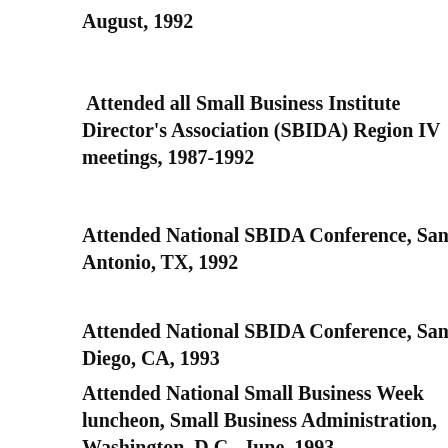August, 1992
Attended all Small Business Institute Director's Association (SBIDA) Region IV meetings, 1987-1992
Attended National SBIDA Conference, San Antonio, TX, 1992
Attended National SBIDA Conference, San Diego, CA, 1993
Attended National Small Business Week luncheon, Small Business Administration, Washington, D.C., June, 1993